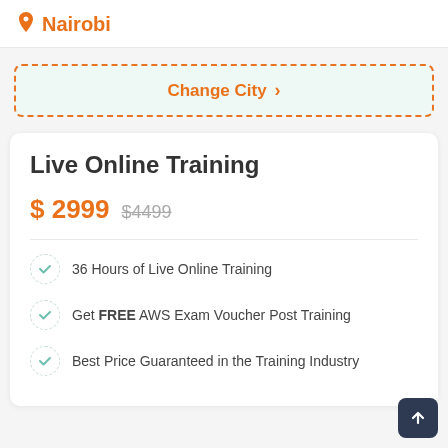Nairobi
Change City
Live Online Training
$ 2999  $4499
36 Hours of Live Online Training
Get FREE AWS Exam Voucher Post Training
Best Price Guaranteed in the Training Industry